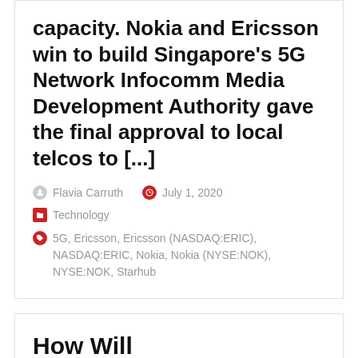capacity. Nokia and Ericsson win to build Singapore's 5G Network Infocomm Media Development Authority gave the final approval to local telcos to [...]
Flavia Carruth   July 1, 2020
Technology
5G, Ericsson, Ericsson (NASDAQ:ERIC), NASDAQ:ERIC, Nokia, Nokia (NYSE:NOK), NYSE:NOK, Starhub
How Will Telefonaktiebolaget LM Ericsson (NASDAQ:ERIC) Help NTT DOCOMO?